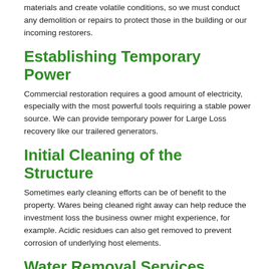materials and create volatile conditions, so we must conduct any demolition or repairs to protect those in the building or our incoming restorers.
Establishing Temporary Power
Commercial restoration requires a good amount of electricity, especially with the most powerful tools requiring a stable power source. We can provide temporary power for Large Loss recovery like our trailered generators.
Initial Cleaning of the Structure
Sometimes early cleaning efforts can be of benefit to the property. Wares being cleaned right away can help reduce the investment loss the business owner might experience, for example. Acidic residues can also get removed to prevent corrosion of underlying host elements.
Water Removal Services
Another emergency service that SERVPRO must implement is removing water to extinguish the fire. Whether that was the sprinkler system in the store or additional water...